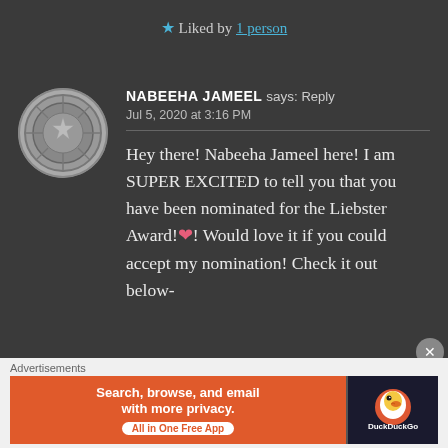★ Liked by 1 person
[Figure (illustration): Circular coin/medallion avatar for Nabeeha Jameel]
NABEEHA JAMEEL says: Reply
Jul 5, 2020 at 3:16 PM
Hey there! Nabeeha Jameel here! I am SUPER EXCITED to tell you that you have been nominated for the Liebster Award!❤! Would love it if you could accept my nomination! Check it out below-
Advertisements
[Figure (screenshot): DuckDuckGo advertisement banner: Search, browse, and email with more privacy. All in One Free App.]